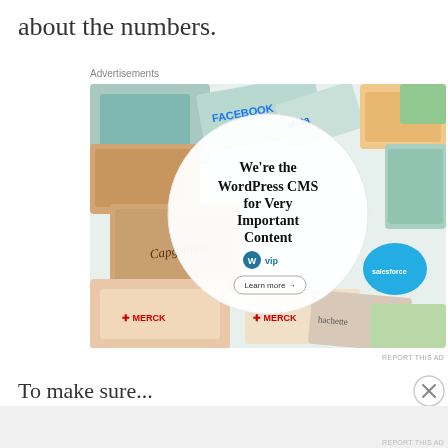about the numbers.
Advertisements
[Figure (screenshot): WordPress VIP advertisement banner showing various media/brand logos (Meta, Facebook, Capgemini, Merck, Salesforce, Hachette) arranged around a central white circle. Center text reads: "We're the WordPress CMS for Very Important Content" with WordPress VIP logo and "Learn more →" button.]
REPORT THIS AD
To make sure...
Advertisements
REPORT THIS AD